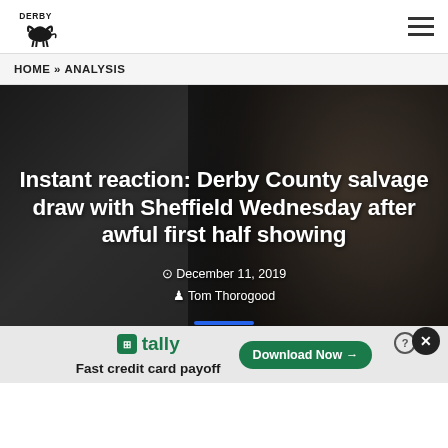Derby County Logo | Navigation menu
HOME » ANALYSIS
Instant reaction: Derby County salvage draw with Sheffield Wednesday after awful first half showing
December 11, 2019
Tom Thorogood
[Figure (photo): Dark hero image with a man in suit looking downward against dark background]
Tally - Fast credit card payoff - Download Now